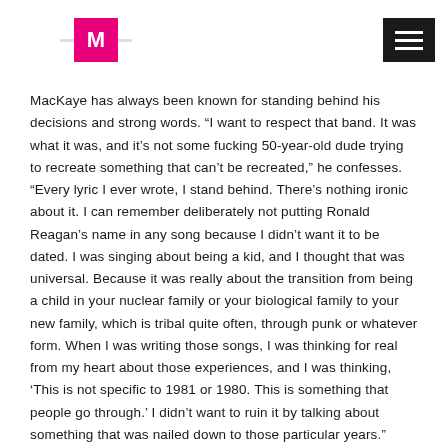M
MacKaye has always been known for standing behind his decisions and strong words. “I want to respect that band. It was what it was, and it’s not some fucking 50-year-old dude trying to recreate something that can’t be recreated,” he confesses. “Every lyric I ever wrote, I stand behind. There’s nothing ironic about it. I can remember deliberately not putting Ronald Reagan’s name in any song because I didn’t want it to be dated. I was singing about being a kid, and I thought that was universal. Because it was really about the transition from being a child in your nuclear family or your biological family to your new family, which is tribal quite often, through punk or whatever form. When I was writing those songs, I was thinking for real from my heart about those experiences, and I was thinking, ‘This is not specific to 1981 or 1980. This is something that people go through.’ I didn’t want to ruin it by talking about something that was nailed down to those particular years.”
For MacKaye, punk has always gone far beyond the musical genre.